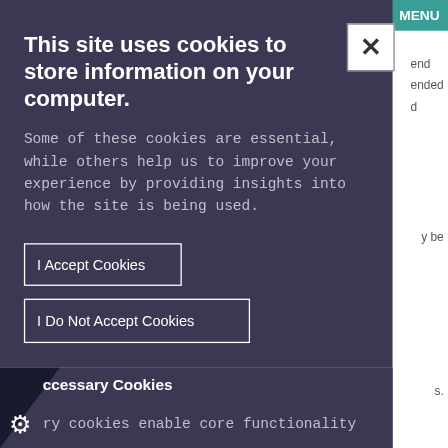This site uses cookies to store information on your computer.
Some of these cookies are essential, while others help us to improve your experience by providing insights into how the site is being used.
I Accept Cookies
I Do Not Accept Cookies
ccessary Cookies
ry cookies enable core functionality